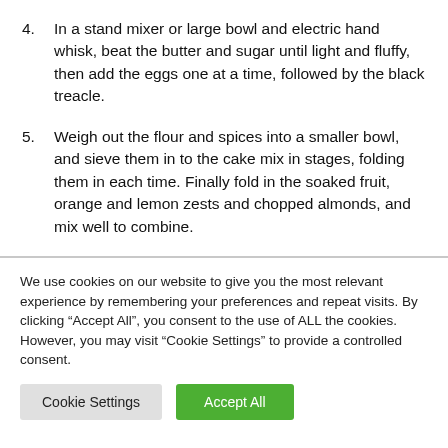4. In a stand mixer or large bowl and electric hand whisk, beat the butter and sugar until light and fluffy, then add the eggs one at a time, followed by the black treacle.
5. Weigh out the flour and spices into a smaller bowl, and sieve them in to the cake mix in stages, folding them in each time. Finally fold in the soaked fruit, orange and lemon zests and chopped almonds, and mix well to combine.
We use cookies on our website to give you the most relevant experience by remembering your preferences and repeat visits. By clicking “Accept All”, you consent to the use of ALL the cookies. However, you may visit “Cookie Settings” to provide a controlled consent.
Cookie Settings | Accept All